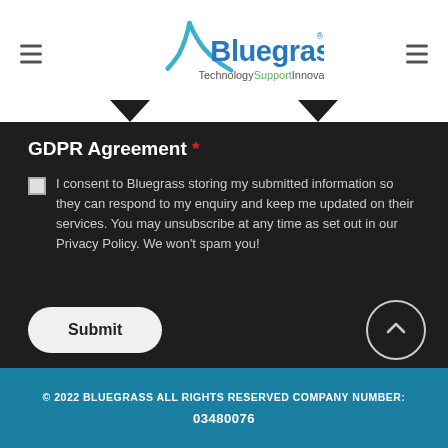[Figure (logo): Bluegrass Technology Support Innovation logo with teal/green checkmark and blue text]
GDPR Agreement *
I consent to Bluegrass storing my submitted information so they can respond to my enquiry and keep me updated on their services. You may unsubscribe at any time as set out in our Privacy Policy. We won't spam you!
Submit
© 2022 BLUEGRASS ALL RIGHTS RESERVED COMPANY NUMBER: 03480076